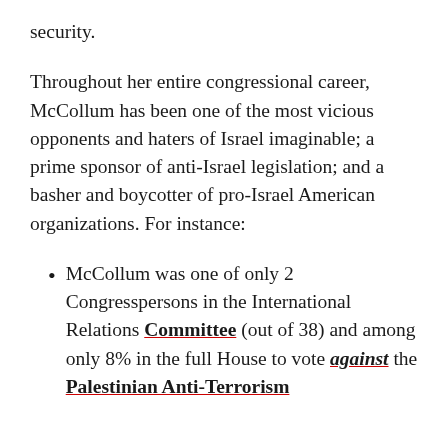security.
Throughout her entire congressional career, McCollum has been one of the most vicious opponents and haters of Israel imaginable; a prime sponsor of anti-Israel legislation; and a basher and boycotter of pro-Israel American organizations. For instance:
McCollum was one of only 2 Congresspersons in the International Relations Committee (out of 38) and among only 8% in the full House to vote against the Palestinian Anti-Terrorism